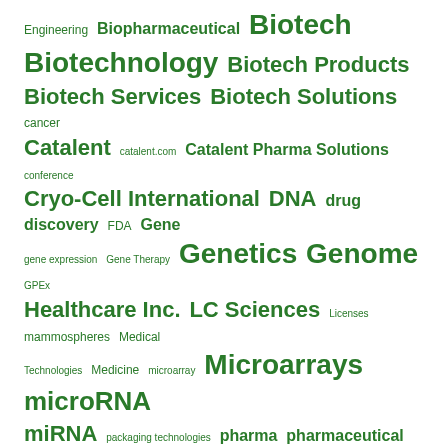[Figure (infographic): Tag cloud of biotechnology/science keywords in various green font sizes. Larger words indicate higher frequency/importance. Terms include: Engineering, Biopharmaceutical, Biotech, Biotechnology, Biotech Products, Biotech Services, Biotech Solutions, cancer, Catalent, catalent.com, Catalent Pharma Solutions, conference, Cryo-Cell International, DNA, drug discovery, FDA, Gene, gene expression, Gene Therapy, Genetics, Genome, GPEx, Healthcare Inc., LC Sciences, Licenses, mammospheres, Medical Technologies, Medicine, microarray, Microarrays, microRNA, miRNA, packaging technologies, pharma, pharmaceutical, Pharmaceuticals, Proteomics, RNA, Science, Stem cells, Vaccines.]
EDITOR'S PICK
A new, creativity-based educational method increases the ability to solve problems with young people, in the social field, or when building a team in the company.